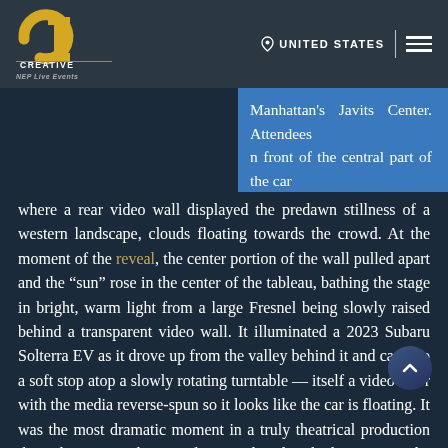Creative Technology | NEP Live Events | UNITED STATES
Manhattan's Javits Center. Attendees n front of the central part of the car early 37,000-square-foot presentation, where a rear video wall displayed the predawn stillness of a western landscape, clouds floating towards the crowd. At the moment of the reveal, the center portion of the wall pulled apart and the “sun” rose in the center of the tableau, bathing the stage in bright, warm light from a large Fresnel being slowly raised behind a transparent video wall. It illuminated a 2023 Subaru Solterra EV as it drove up from the valley behind it and came to a soft stop atop a slowly rotating turntable — itself a video floor with the media reverse-spun so it looks like the car is floating. It was the most dramatic moment in a truly theatrical production that also saw other newly introduced vehicles set in the environments that their owners might envision them in, such as the burbling